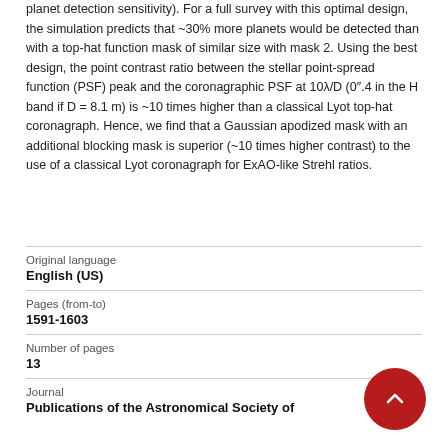planet detection sensitivity). For a full survey with this optimal design, the simulation predicts that ~30% more planets would be detected than with a top-hat function mask of similar size with mask 2. Using the best design, the point contrast ratio between the stellar point-spread function (PSF) peak and the coronagraphic PSF at 10λ/D (0".4 in the H band if D = 8.1 m) is ~10 times higher than a classical Lyot top-hat coronagraph. Hence, we find that a Gaussian apodized mask with an additional blocking mask is superior (~10 times higher contrast) to the use of a classical Lyot coronagraph for ExAO-like Strehl ratios.
| Field | Value |
| --- | --- |
| Original language | English (US) |
| Pages (from-to) | 1591-1603 |
| Number of pages | 13 |
| Journal | Publications of the Astronomical Society of |